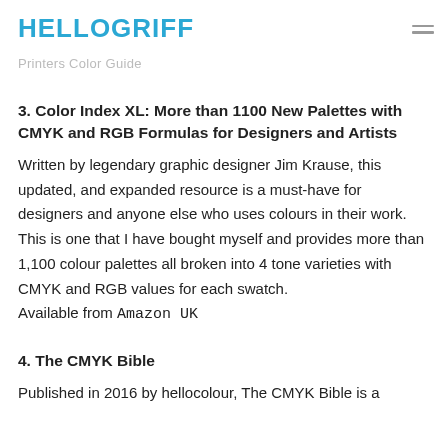HELLOGRIFF
Printers Color Guide
3. Color Index XL: More than 1100 New Palettes with CMYK and RGB Formulas for Designers and Artists
Written by legendary graphic designer Jim Krause, this updated, and expanded resource is a must-have for designers and anyone else who uses colours in their work. This is one that I have bought myself and provides more than 1,100 colour palettes all broken into 4 tone varieties with CMYK and RGB values for each swatch.
Available from Amazon UK
4. The CMYK Bible
Published in 2016 by hellocolour, The CMYK Bible is a